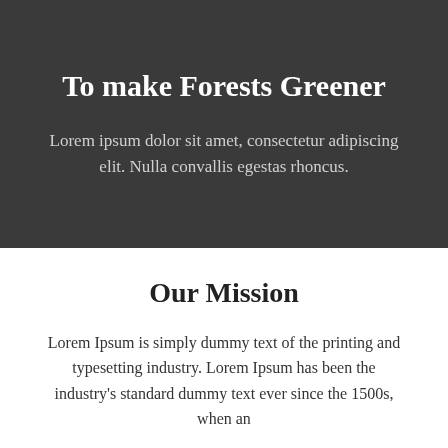To make Forests Greener
Lorem ipsum dolor sit amet, consectetur adipiscing elit. Nulla convallis egestas rhoncus.
Our Mission
Lorem Ipsum is simply dummy text of the printing and typesetting industry. Lorem Ipsum has been the industry's standard dummy text ever since the 1500s, when an